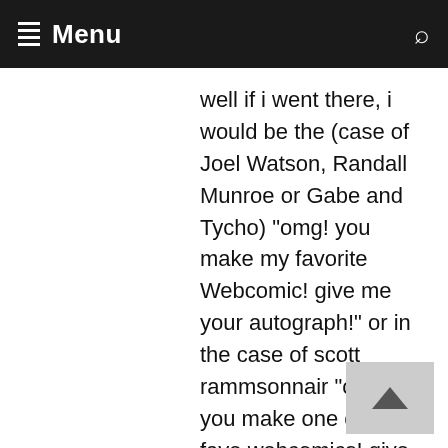Menu
well if i went there, i would be the (case of Joel Watson, Randall Munroe or Gabe and Tycho) "omg! you make my favorite Webcomic! give me your autograph!" or in the case of scott rammsonnair "omg! you make one of my fave webcomics! give me a sample of your DNA so i can make 10 clones of you to make VGcats updated